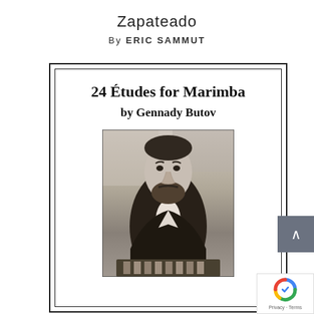Zapateado
By ERIC SAMMUT
[Figure (illustration): Book cover for '24 Études for Marimba by Gennady Butov' showing title text and a black-and-white photograph of a bearded man, presumably Gennady Butov, seated at a marimba instrument. The cover has a double-border frame design.]